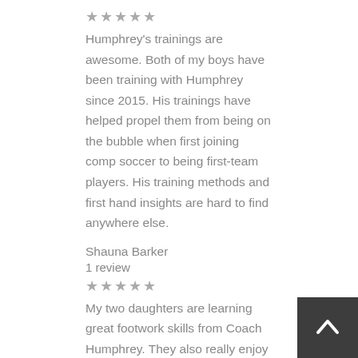★★★★★
Humphrey's trainings are awesome. Both of my boys have been training with Humphrey since 2015. His trainings have helped propel them from being on the bubble when first joining comp soccer to being first-team players. His training methods and first hand insights are hard to find anywhere else.
Shauna Barker
1 review
★★★★★
My two daughters are learning great footwork skills from Coach Humphrey. They also really enjoy the training sessions. Humphrey is a talented soccer coach.